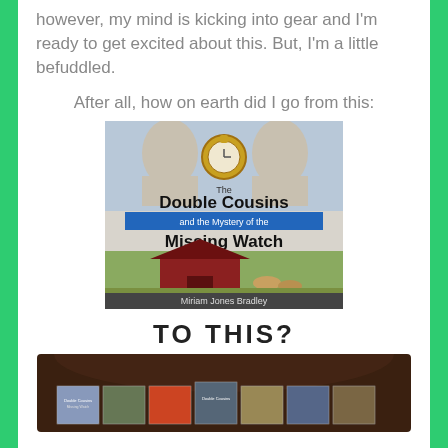however, my mind is kicking into gear and I'm ready to get excited about this. But, I'm a little befuddled.
After all, how on earth did I go from this:
[Figure (photo): Book cover of 'The Double Cousins and the Mystery of the Missing Watch' by Miriam Jones Bradley, showing two men's faces at top, a pocket watch, blue banner with 'and the Mystery of the', large bold title text, a red barn with horses, and author name at bottom.]
TO THIS?
[Figure (photo): Photo of multiple book covers from the Double Cousins series arranged on a dark wooden surface, showing a row of small book covers.]